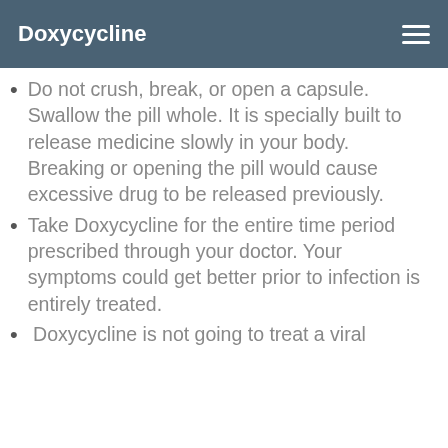Doxycycline
Do not crush, break, or open a capsule. Swallow the pill whole. It is specially built to release medicine slowly in your body. Breaking or opening the pill would cause excessive drug to be released previously.
Take Doxycycline for the entire time period prescribed through your doctor. Your symptoms could get better prior to infection is entirely treated.
Doxycycline is not going to treat a viral